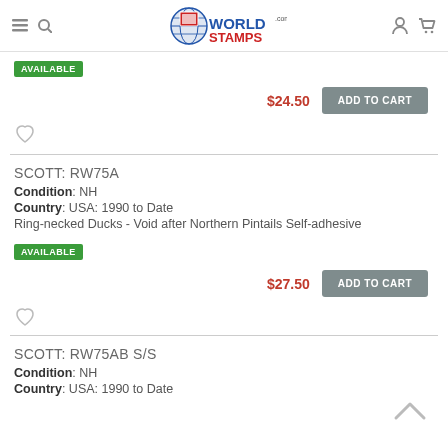WorldStamps.com
AVAILABLE
$24.50
ADD TO CART
SCOTT: RW75A
Condition: NH
Country: USA: 1990 to Date
Ring-necked Ducks - Void after Northern Pintails Self-adhesive
AVAILABLE
$27.50
ADD TO CART
SCOTT: RW75AB S/S
Condition: NH
Country: USA: 1990 to Date